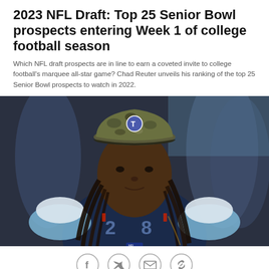2023 NFL Draft: Top 25 Senior Bowl prospects entering Week 1 of college football season
Which NFL draft prospects are in line to earn a coveted invite to college football's marquee all-star game? Chad Reuter unveils his ranking of the top 25 Senior Bowl prospects to watch in 2022.
[Figure (photo): A Tennessee Titans football player wearing number 28 jersey and a camo cap with the Titans logo, with long dreadlocks, looking forward. Background shows blurred stadium/players.]
[Figure (other): Social media sharing icons: Facebook, Twitter, Email, Link/chain]